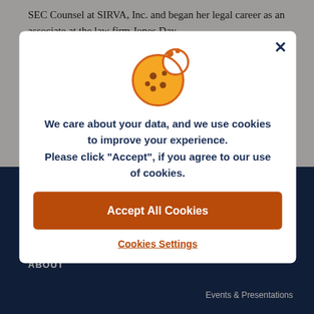SEC Counsel at SIRVA, Inc. and began her legal career as an associate at the law firm Jones Day.
Phuong earned a B.A. from the University of Illinois and a J.D. ... School. ... Secretary...
Co...
FOLLOW
ABOUT
Events & Presentations
[Figure (illustration): Cookie consent modal dialog with a cookie icon, message about data and cookies, Accept All Cookies button, and Cookies Settings link. Close (X) button in top right corner.]
We care about your data, and we use cookies to improve your experience. Please click "Accept", if you agree to our use of cookies.
Accept All Cookies
Cookies Settings